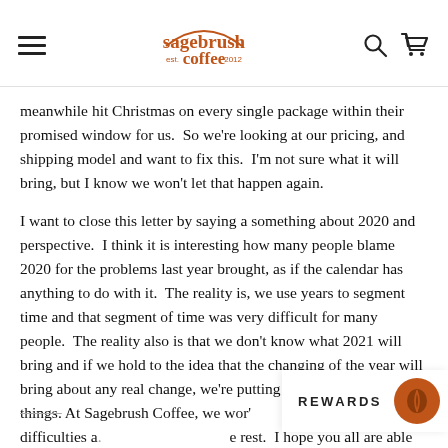sagebrush coffee est. 2012
meanwhile hit Christmas on every single package within their promised window for us.  So we're looking at our pricing, and shipping model and want to fix this.  I'm not sure what it will bring, but I know we won't let that happen again.
I want to close this letter by saying a something about 2020 and perspective.  I think it is interesting how many people blame 2020 for the problems last year brought, as if the calendar has anything to do with it.  The reality is, we use years to segment time and that segment of time was very difficult for many people.  The reality also is that we don't know what 2021 will bring and if we hold to the idea that the changing of the year will bring about any real change, we're putting our faith in the wrong things. At Sagebrush Coffee, we wor' complain about difficulties a. rest.  I hope you all are able to do that as well and I